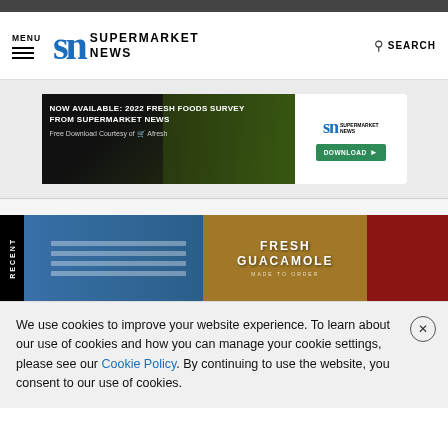MENU | SUPERMARKET NEWS | SEARCH
[Figure (advertisement): NOW AVAILABLE: 2022 FRESH FOODS SURVEY FROM SUPERMARKET NEWS. Free Download Courtesy of Afresh. Supermarket News logo. DOWNLOAD button.]
[Figure (photo): Supermarket store interior with fresh guacamole made to order signage on brick wall, store shelves on left, red section on right. RECENT tab on left edge.]
We use cookies to improve your website experience. To learn about our use of cookies and how you can manage your cookie settings, please see our Cookie Policy. By continuing to use the website, you consent to our use of cookies.